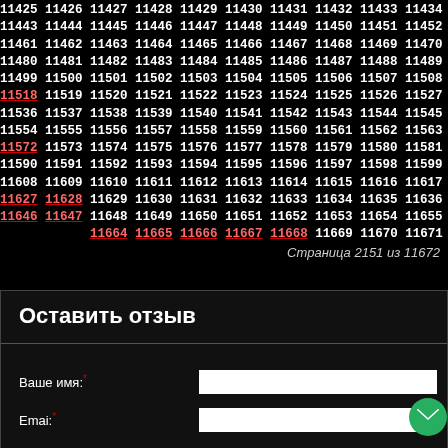11425 11426 11427 11428 11429 11430 11431 11432 11433 11434 11435 11443 11444 11445 11446 11447 11448 11449 11450 11451 11452 11453 11461 11462 11463 11464 11465 11466 11467 11468 11469 11470 11471 11480 11481 11482 11483 11484 11485 11486 11487 11488 11489 11490 11499 11500 11501 11502 11503 11504 11505 11506 11507 11508 11509 11518 11519 11520 11521 11522 11523 11524 11525 11526 11527 11528 11536 11537 11538 11539 11540 11541 11542 11543 11544 11545 11546 11554 11555 11556 11557 11558 11559 11560 11561 11562 11563 11564 11572 11573 11574 11575 11576 11577 11578 11579 11580 11581 11582 11590 11591 11592 11593 11594 11595 11596 11597 11598 11599 11600 11608 11609 11610 11611 11612 11613 11614 11615 11616 11617 11618 11619 11627 11628 11629 11630 11631 11632 11633 11634 11635 11636 11637 11638 11646 11647 11648 11649 11650 11651 11652 11653 11654 11655 11656 11664 11665 11666 11667 11668 11669 11670 11671 11672
Страница 2151 из 11672
Оставить отзыв
Ваше имя:*
Emai:*